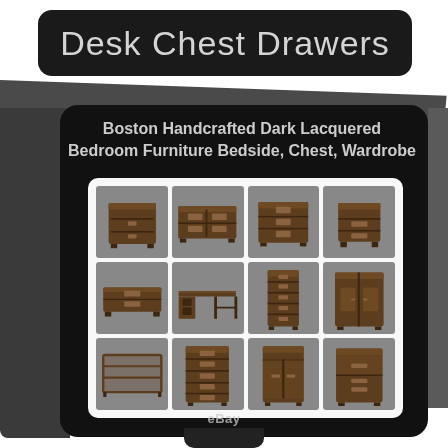Desk Chest Drawers
Boston Handcrafted Dark Lacquered Bedroom Furniture Bedside, Chest, Wardrobe
[Figure (photo): Grid of 12 dark lacquered wood bedroom furniture pieces including bedside tables, chest of drawers, wardrobe, desk, bookcase, and tall chests, displayed in a 4x3 grid on white background with eBay watermark.]